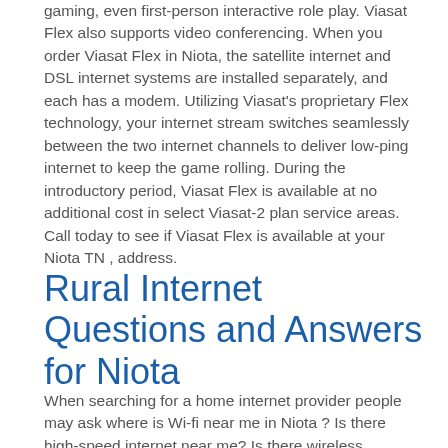gaming, even first-person interactive role play. Viasat Flex also supports video conferencing. When you order Viasat Flex in Niota, the satellite internet and DSL internet systems are installed separately, and each has a modem. Utilizing Viasat's proprietary Flex technology, your internet stream switches seamlessly between the two internet channels to deliver low-ping internet to keep the game rolling. During the introductory period, Viasat Flex is available at no additional cost in select Viasat-2 plan service areas. Call today to see if Viasat Flex is available at your Niota TN , address.
Rural Internet Questions and Answers for Niota
When searching for a home internet provider people may ask where is Wi-fi near me in Niota ? Is there high-speed internet near me? Is there wireless internet near me? Where is the best internet available?